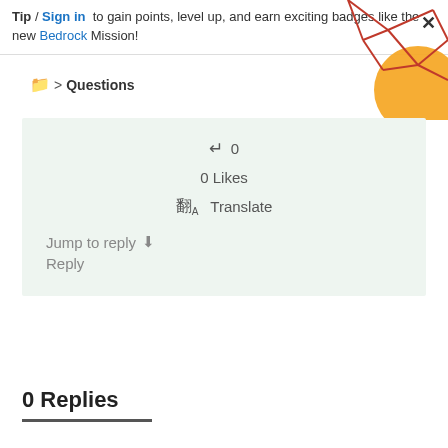Tip  /  Sign in  to gain points, level up, and earn exciting badges like the new Bedrock Mission!
Questions
[Figure (illustration): Decorative geometric pattern with red polygon lines and an orange circle in the top-right corner]
0
0 Likes
Translate
Jump to reply ↓
Reply
0 Replies